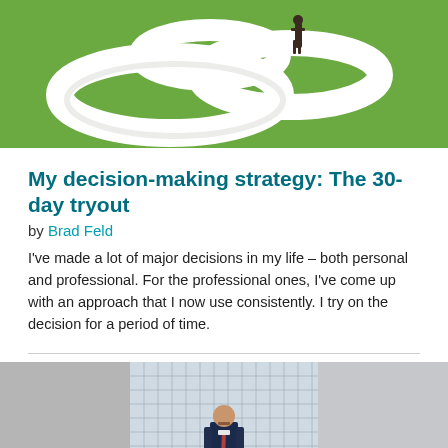[Figure (photo): A person in a suit standing on large curved white sculptural letters or path shapes on a green grassy background, viewed from above.]
My decision-making strategy: The 30-day tryout
by Brad Feld
I've made a lot of major decisions in my life – both personal and professional. For the professional ones, I've come up with an approach that I now use consistently. I try on the decision for a period of time.
[Figure (photo): A man in a dark suit standing in front of a large glass block window wall inside a modern building.]